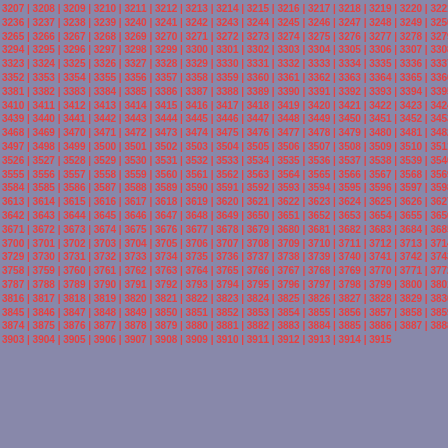Grid of sequential numbers from approximately 3207 to 3915, arranged in rows of 15 numbers separated by pipe characters, on a blue-grey background with red text.